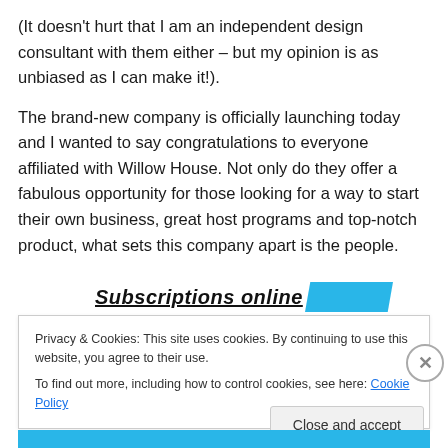(It doesn't hurt that I am an independent design consultant with them either – but my opinion is as unbiased as I can make it!).
The brand-new company is officially launching today and I wanted to say congratulations to everyone affiliated with Willow House. Not only do they offer a fabulous opportunity for those looking for a way to start their own business, great host programs and top-notch product, what sets this company apart is the people.
Subscriptions online
Privacy & Cookies: This site uses cookies. By continuing to use this website, you agree to their use.
To find out more, including how to control cookies, see here: Cookie Policy
Close and accept